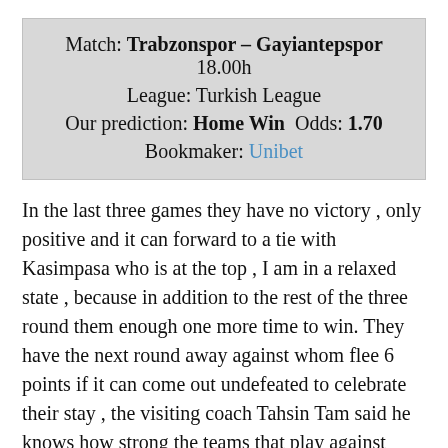| Match: Trabzonspor – Gayiantepspor 18.00h |
| League: Turkish League |
| Our prediction: Home Win  Odds: 1.70 |
| Bookmaker: Unibet |
In the last three games they have no victory , only positive and it can forward to a tie with Kasimpasa who is at the top , I am in a relaxed state , because in addition to the rest of the three round them enough one more time to win. They have the next round away against whom flee 6 points if it can come out undefeated to celebrate their stay , the visiting coach Tahsin Tam said he knows how strong the teams that play against them and it is important to win , we came to a deserted matches it is clear that we helped them , but before two rounds but then us and we will be here to play your game